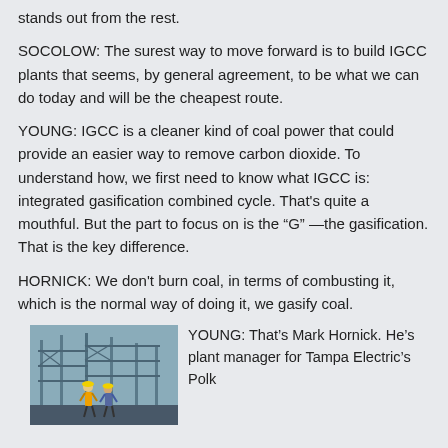stands out from the rest.
SOCOLOW: The surest way to move forward is to build IGCC plants that seems, by general agreement, to be what we can do today and will be the cheapest route.
YOUNG: IGCC is a cleaner kind of coal power that could provide an easier way to remove carbon dioxide. To understand how, we first need to know what IGCC is: integrated gasification combined cycle. That's quite a mouthful. But the part to focus on is the “G” —the gasification. That is the key difference.
HORNICK: We don't burn coal, in terms of combusting it, which is the normal way of doing it, we gasify coal.
[Figure (photo): Industrial plant scene with workers in hard hats and scaffolding/industrial equipment in the background.]
YOUNG: That’s Mark Hornick. He’s plant manager for Tampa Electric’s Polk